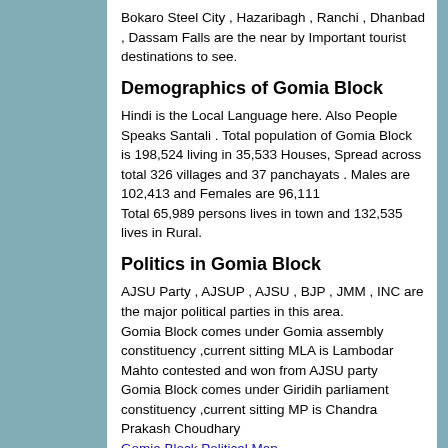Bokaro Steel City , Hazaribagh , Ranchi , Dhanbad , Dassam Falls are the near by Important tourist destinations to see.
Demographics of Gomia Block
Hindi is the Local Language here. Also People Speaks Santali . Total population of Gomia Block is 198,524 living in 35,533 Houses, Spread across total 326 villages and 37 panchayats . Males are 102,413 and Females are 96,111
Total 65,989 persons lives in town and 132,535 lives in Rural.
Politics in Gomia Block
AJSU Party , AJSUP , AJSU , BJP , JMM , INC are the major political parties in this area.
Gomia Block comes under Gomia assembly constituency ,current sitting MLA is Lambodar Mahto contested and won from AJSU party
Gomia Block comes under Giridih parliament constituency ,current sitting MP is Chandra Prakash Choudhary
Gomia Block Political Map
HOW TO REACH Gomia Block